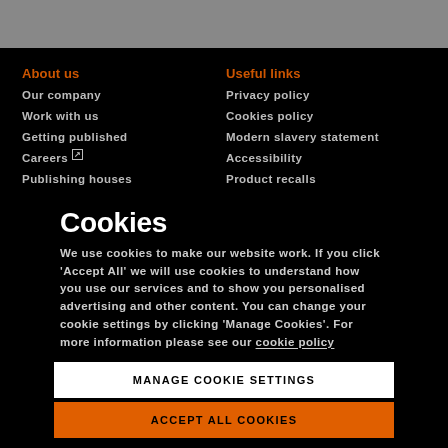About us
Our company
Work with us
Getting published
Careers [external link]
Publishing houses
Useful links
Privacy policy
Cookies policy
Modern slavery statement
Accessibility
Product recalls
Cookies
We use cookies to make our website work. If you click 'Accept All' we will use cookies to understand how you use our services and to show you personalised advertising and other content. You can change your cookie settings by clicking 'Manage Cookies'. For more information please see our cookie policy